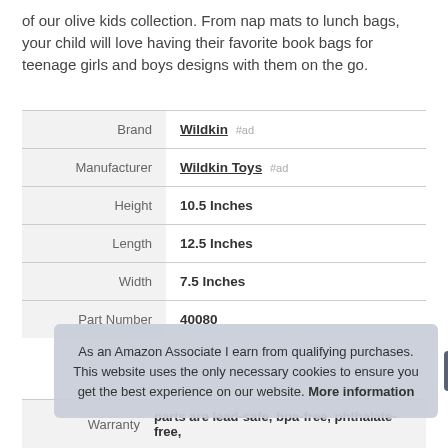of our olive kids collection. From nap mats to lunch bags, your child will love having their favorite book bags for teenage girls and boys designs with them on the go.
| Label | Value |
| --- | --- |
| Brand | Wildkin #ad |
| Manufacturer | Wildkin Toys #ad |
| Height | 10.5 Inches |
| Length | 12.5 Inches |
| Width | 7.5 Inches |
| Part Number | 40080 |
| Warranty | parts are lead-safe, bpa-free, phthalate-free, |
As an Amazon Associate I earn from qualifying purchases. This website uses the only necessary cookies to ensure you get the best experience on our website. More information